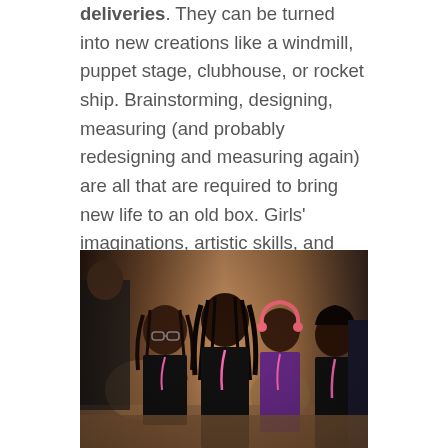deliveries. They can be turned into new creations like a windmill, puppet stage, clubhouse, or rocket ship. Brainstorming, designing, measuring (and probably redesigning and measuring again) are all that are required to bring new life to an old box. Girls' imaginations, artistic skills, and engineering talents come together. Design Squad Global offers tips for building strong cardboard structures into furniture. It's all about making corrugation your superpower.
[Figure (photo): Photo of several young Black girls sitting at computers in a classroom or lab setting, looking attentively at screens. They are wearing lanyards, some in black shirts. The setting appears to be a technology or STEM learning event.]